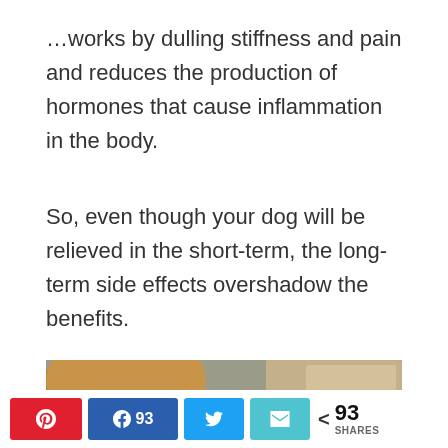…works by dulling stiffness and pain and reduces the production of hormones that cause inflammation in the body.
So, even though your dog will be relieved in the short-term, the long-term side effects overshadow the benefits.
[Figure (photo): Close-up photo of a dog's face focusing on its nose and eye, with blurred background]
Pinterest share button | Facebook 93 share button | Twitter share button | Email share button | < 93 SHARES